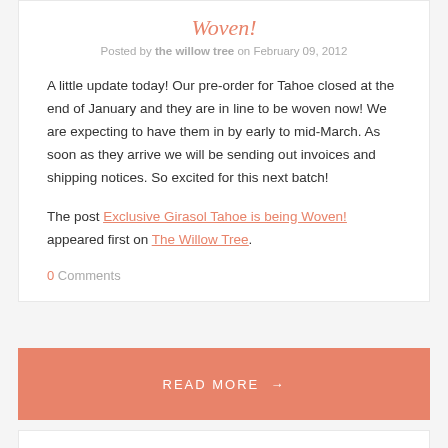Woven!
Posted by the willow tree on February 09, 2012
A little update today! Our pre-order for Tahoe closed at the end of January and they are in line to be woven now! We are expecting to have them in by early to mid-March. As soon as they arrive we will be sending out invoices and shipping notices. So excited for this next batch!
The post Exclusive Girasol Tahoe is being Woven! appeared first on The Willow Tree.
0 Comments
READ MORE →